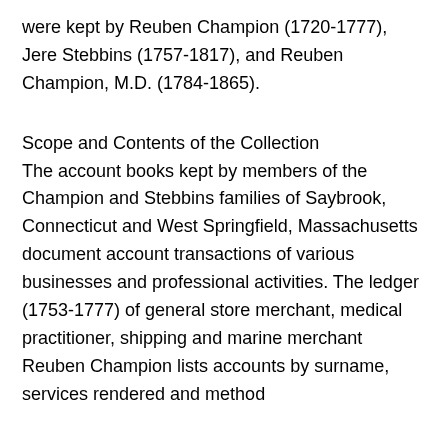were kept by Reuben Champion (1720-1777), Jere Stebbins (1757-1817), and Reuben Champion, M.D. (1784-1865).
Scope and Contents of the Collection
The account books kept by members of the Champion and Stebbins families of Saybrook, Connecticut and West Springfield, Massachusetts document account transactions of various businesses and professional activities. The ledger (1753-1777) of general store merchant, medical practitioner, shipping and marine merchant Reuben Champion lists accounts by surname, services rendered and method